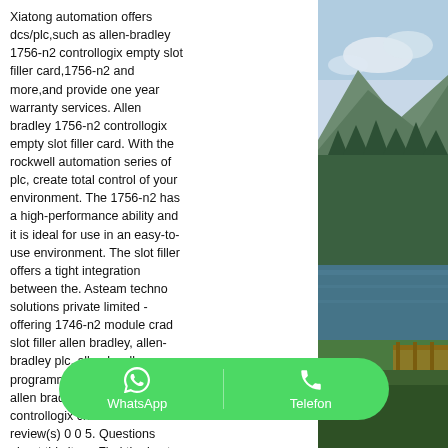Xiatong automation offers dcs/plc,such as allen-bradley 1756-n2 controllogix empty slot filler card,1756-n2 and more,and provide one year warranty services. Allen bradley 1756-n2 controllogix empty slot filler card. With the rockwell automation series of plc, create total control of your environment. The 1756-n2 has a high-performance ability and it is ideal for use in an easy-to-use environment. The slot filler offers a tight integration between the. Asteam techno solutions private limited - offering 1746-n2 module crad slot filler allen bradley, allen-bradley plc, allen bradley programmable logic. 1756-n2 | allen bradley slot filler for controllogix chassis. 0 review(s) 0 0 5. Questions about this item. Find the best pricing for allen bradley 1756-n2 by comparing bulk discounts from 1 distributors. Slot filler fo cover,cont 1756-n2xt controllogix xt empty slot filler.
[Figure (photo): Mountain landscape with forested hillsides, a lake or river, and a dock/pier visible in the lower right portion of the image.]